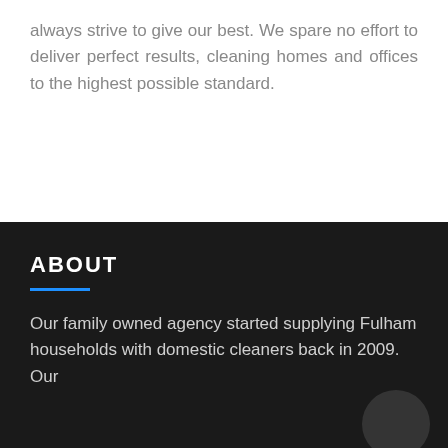always strive to give our best. We spare no effort to deliver perfect results, cleaning homes and offices to the highest possible standard.
ABOUT
Our family owned agency started supplying Fulham households with domestic cleaners back in 2009. Our